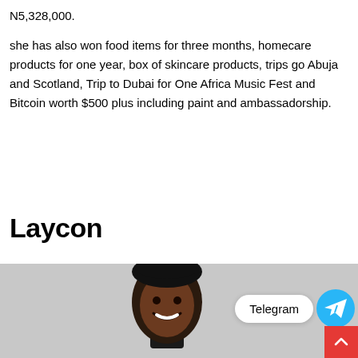N5,328,000.
she has also won food items for three months, homecare products for one year, box of skincare products, trips go Abuja and Scotland, Trip to Dubai for One Africa Music Fest and Bitcoin worth $500 plus including paint and ambassadorship.
Laycon
[Figure (photo): Photo of Laycon, a young Black man smiling, wearing a black turtleneck, shown from shoulders up against a light background.]
[Figure (logo): Telegram app button with label 'Telegram' and blue circular icon with white paper plane.]